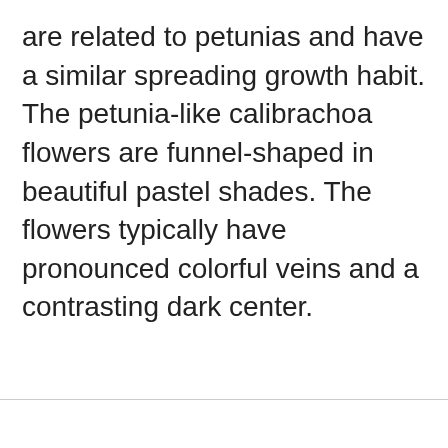are related to petunias and have a similar spreading growth habit. The petunia-like calibrachoa flowers are funnel-shaped in beautiful pastel shades. The flowers typically have pronounced colorful veins and a contrasting dark center.